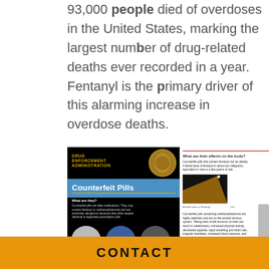93,000 people died of overdoses in the United States, marking the largest number of drug-related deaths ever recorded in a year. Fentanyl is the primary driver of this alarming increase in overdose deaths.
[Figure (infographic): DEA Drug Enforcement Administration infographic about Counterfeit Pills. Left panel (black background): DEA seal logo, title 'Counterfeit Pills' in white on blue, gold underline, section 'What are they?' explaining counterfeit pills are fake medications containing fentanyl or methamphetamine, with images of pills. Right panel (white background): red top line, section 'What are their effects on the body?' describing fentanyl lethality and meth effects, image of fentanyl lethal dose captioned 'A lethal dose of fentanyl'.]
CONTACT